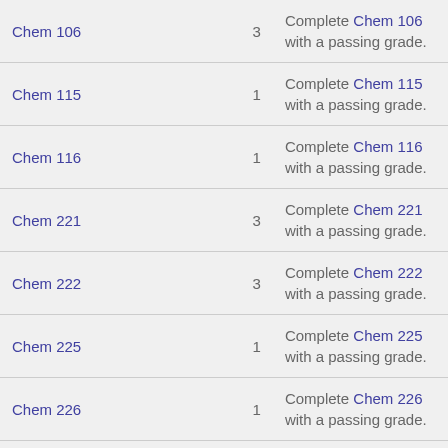| Course | Credits | Requirement |
| --- | --- | --- |
| Chem 106 | 3 | Complete Chem 106 with a passing grade. |
| Chem 115 | 1 | Complete Chem 115 with a passing grade. |
| Chem 116 | 1 | Complete Chem 116 with a passing grade. |
| Chem 221 | 3 | Complete Chem 221 with a passing grade. |
| Chem 222 | 3 | Complete Chem 222 with a passing grade. |
| Chem 225 | 1 | Complete Chem 225 with a passing grade. |
| Chem 226 | 1 | Complete Chem 226 with a passing grade. |
| Ch E 307 | 2 | Complete Ch E 307 with a passing grade. |